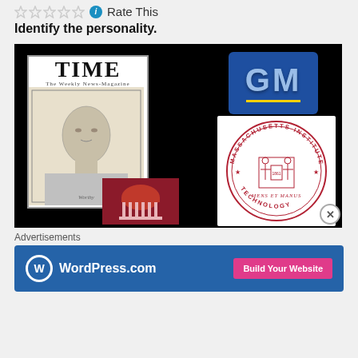Rate This
Identify the personality.
[Figure (illustration): Collage on black background: TIME magazine cover with portrait of a man, GM logo (blue square with GM letters and yellow underline), Massachusetts Institute of Technology seal (circular red seal), and Carnegie Mellon/red building logo]
Advertisements
[Figure (logo): WordPress.com advertisement banner with blue background, WordPress logo, WordPress.com text, and pink 'Build Your Website' button]